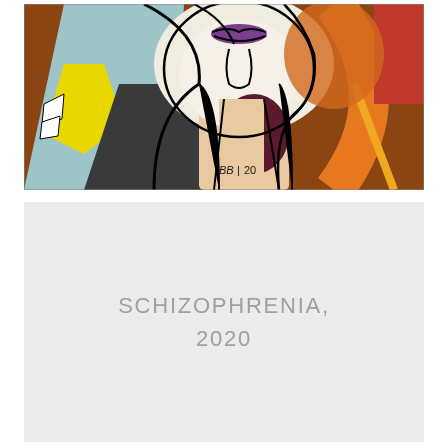[Figure (illustration): Abstract Cubist-style painting showing a close-up of a woman's face and torso. The painting features bold black outlines with areas of light blue, gray, peach/skin tones, yellow, dark purple/maroon, orange, red, and brown. The figure is fragmented and abstracted in the style of Picasso. A signature 'BB' and the number '20' appear in the lower-center of the composition.]
SCHIZOPHRENIA, 2020